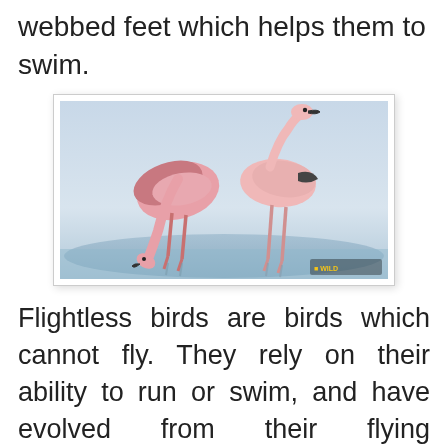webbed feet which helps them to swim.
[Figure (photo): Two flamingos standing in shallow water. One flamingo is bending its neck down toward the water. The image has a National Geographic Wild watermark in the bottom right corner.]
Flightless birds are birds which cannot fly. They rely on their ability to run or swim, and have evolved from their flying ancestors. There are about 60 species living today, the best known being the